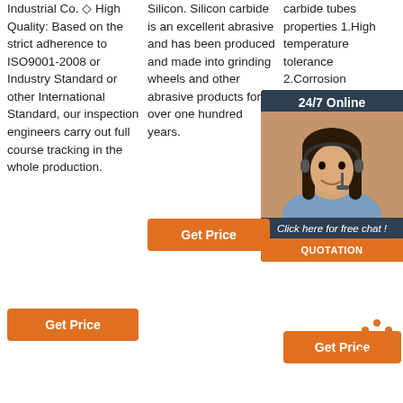Industrial Co. ◇ High Quality: Based on the strict adherence to ISO9001-2008 or Industry Standard or other International Standard, our inspection engineers carry out full course tracking in the whole production.
Silicon. Silicon carbide is an excellent abrasive and has been produced and made into grinding wheels and other abrasive products for over one hundred years.
carbide tubes properties 1.High temperature tolerance 2.Corrosion resistance 3.Oxidation resistance products characteristically high flexural strength at elevated temperature, high thermal shock
[Figure (photo): 24/7 Online chat widget with headset lady and quotation button]
[Figure (logo): TOP icon with orange dots]
Get Price
Get Price
Get Price